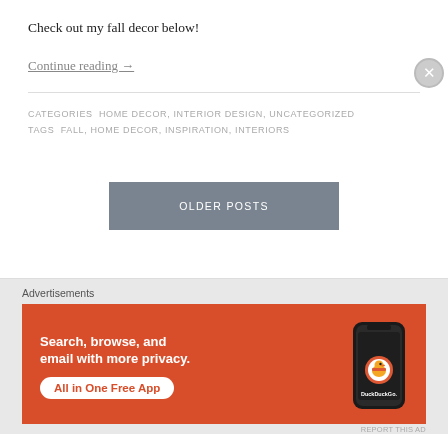Check out my fall decor below!
Continue reading →
CATEGORIES  HOME DECOR, INTERIOR DESIGN, UNCATEGORIZED
TAGS  FALL, HOME DECOR, INSPIRATION, INTERIORS
OLDER POSTS
Advertisements
[Figure (infographic): DuckDuckGo advertisement banner with orange background. Text reads: 'Search, browse, and email with more privacy. All in One Free App' with DuckDuckGo logo and phone image.]